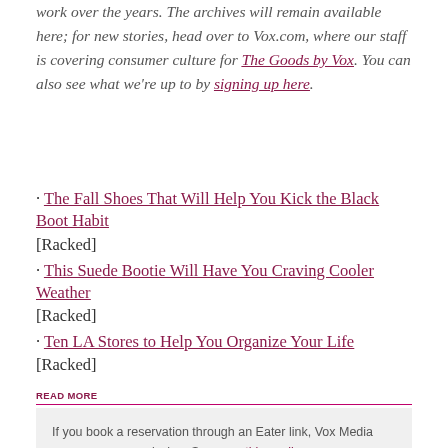work over the years. The archives will remain available here; for new stories, head over to Vox.com, where our staff is covering consumer culture for The Goods by Vox. You can also see what we're up to by signing up here.
· The Fall Shoes That Will Help You Kick the Black Boot Habit [Racked]
· This Suede Bootie Will Have You Craving Cooler Weather [Racked]
· Ten LA Stores to Help You Organize Your Life [Racked]
READ MORE
If you book a reservation through an Eater link, Vox Media may earn a commission. See our ethics policy.